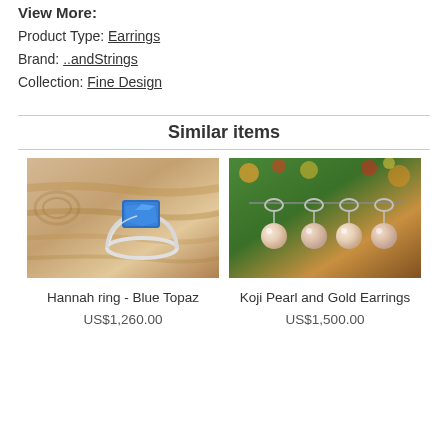View More:
Product Type: Earrings
Brand: ..andStrings
Collection: Fine Design
Similar items
[Figure (photo): Photo of Hannah ring with blue topaz gemstone on a wooden background]
Hannah ring - Blue Topaz
US$1,260.00
[Figure (photo): Photo of Koji Pearl and Gold Earrings hanging on a string with colorful bokeh background]
Koji Pearl and Gold Earrings
US$1,500.00